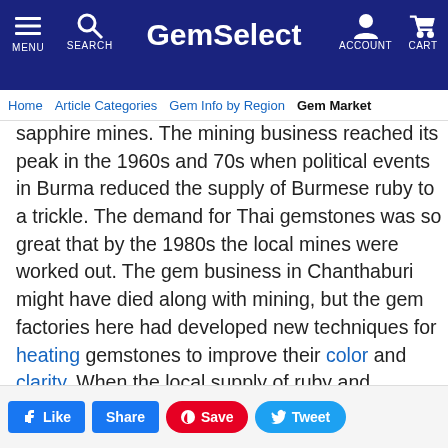GemSelect — MENU SEARCH ACCOUNT CART
Home | Article Categories | Gem Info by Region | Gem Market
sapphire mines. The mining business reached its peak in the 1960s and 70s when political events in Burma reduced the supply of Burmese ruby to a trickle. The demand for Thai gemstones was so great that by the 1980s the local mines were worked out. The gem business in Chanthaburi might have died along with mining, but the gem factories here had developed new techniques for heating gemstones to improve their color and clarity. When the local supply of ruby and sapphire started to disappear, traders began to bring from all the world to be
Like | Share | Save | Tweet